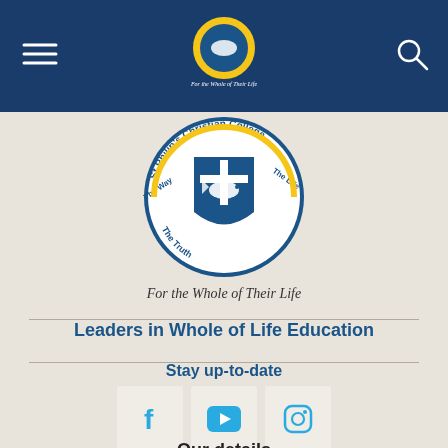[Figure (logo): School navigation bar with hamburger menu, St Philip's Christian College logo, and search icon on dark blue background]
[Figure (logo): Large St Philip's Christian College crest/shield with fish, cross, and motto 'The Way, The Truth, The Life']
For the Whole of Their Life
Leaders in Whole of Life Education
Stay up-to-date
[Figure (infographic): Three social media icon boxes: Facebook (f), YouTube (play button), Instagram (camera icon), each in a light square box]
Our details